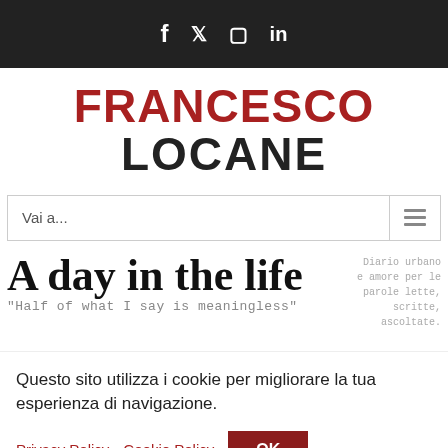f  𝕏  ☐  in  (social media icons)
FRANCESCO LOCANE
Vai a...
A day in the life
"Half of what I say is meaningless"
Diario urbano e amore per le parole lette, scritte, ascoltate.
Questo sito utilizza i cookie per migliorare la tua esperienza di navigazione.
Privacy Policy   Cookie Policy   OK